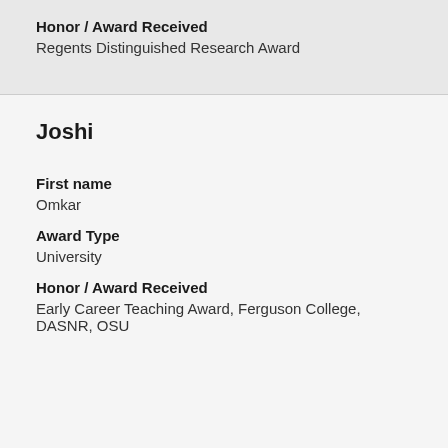Honor / Award Received
Regents Distinguished Research Award
Joshi
First name
Omkar
Award Type
University
Honor / Award Received
Early Career Teaching Award, Ferguson College, DASNR, OSU